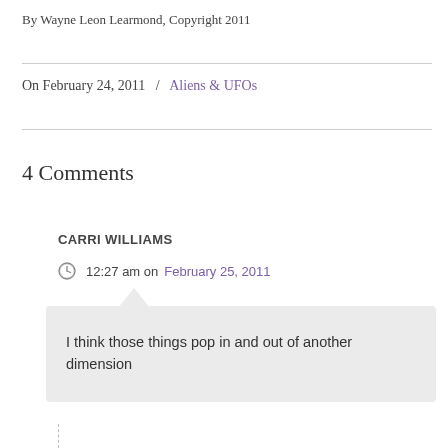By Wayne Leon Learmond, Copyright 2011
On February 24, 2011  /  Aliens & UFOs
4 Comments
CARRI WILLIAMS
12:27 am on February 25, 2011
I think those things pop in and out of another dimension